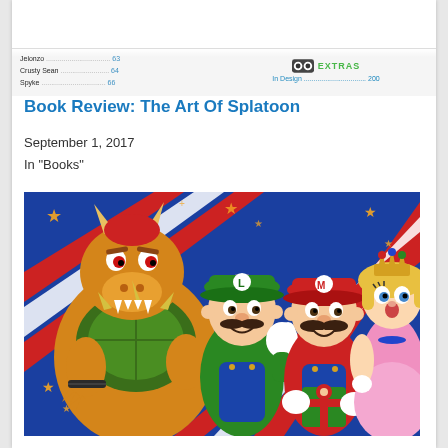[Figure (screenshot): Partial view of a table of contents showing character names (Jelonzo, Crusty Sean, Spyke) with dotted leaders and page numbers, and an EXTRAS badge with cartoon eyes icon on the right side.]
Book Review: The Art Of Splatoon
September 1, 2017
In "Books"
[Figure (photo): Photo of Nintendo video game characters: Bowser (large orange-brown turtle/dragon), Luigi (green hat with L), Mario (red hat with M holding a present), and Princess Peach (pink dress, blonde hair with crown), posed together against a blue background with red-white diagonal stripes and gold stars.]